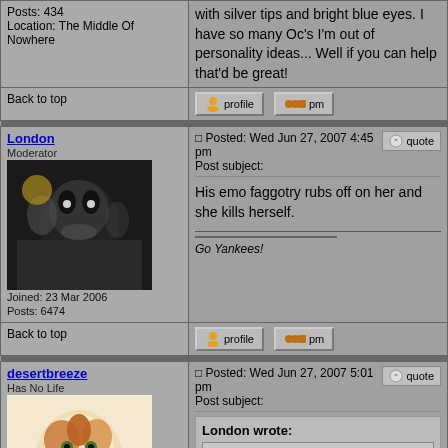Posts: 434
Location: The Middle Of Nowhere
with silver tips and bright blue eyes. I have so many Oc's I'm out of personality ideas... Well if you can help that'd be great!
Back to top
London
Moderator
Joined: 23 Mar 2006
Posts: 6474
Posted: Wed Jun 27, 2007 4:45 pm
Post subject:
His emo faggotry rubs off on her and she kills herself.
Go Yankees!
Back to top
desertbreeze
Has No Life
Joined: 05 Feb 2007
Posts: 434
Location: The Middle Of Nowhere
Posted: Wed Jun 27, 2007 5:01 pm
Post subject:
London wrote:
His emo faggotry rubs off on her and she kills herself.
Umm I don't really appreciate that statement...